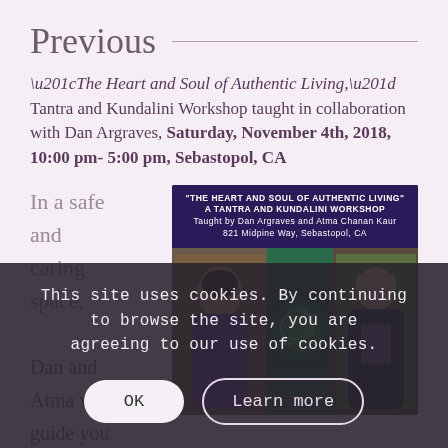Previous
“The Heart and Soul of Authentic Living,” Tantra and Kundalini Workshop taught in collaboration with Dan Argraves, Saturday, November 4th, 2018, 10:00 pm- 5:00 pm, Sebastopol, CA
In a safe and caring space,
[Figure (photo): Workshop promotional image showing two instructors (Dan Argraves and Atma Chanan Kaur) with a green spiral background containing the words Truth and Love. Banner text: 'THE HEART AND SOUL OF AUTHENTIC LIVING' A TANTRA AND KUNDALINI WORKSHOP Taught by Dan Argraves and Atma Chanan Kaur 821 Midpine Way, Sebastopol, CA]
Dan and Atma will guide you in uplifting
This site uses cookies. By continuing to browse the site, you are agreeing to our use of cookies.